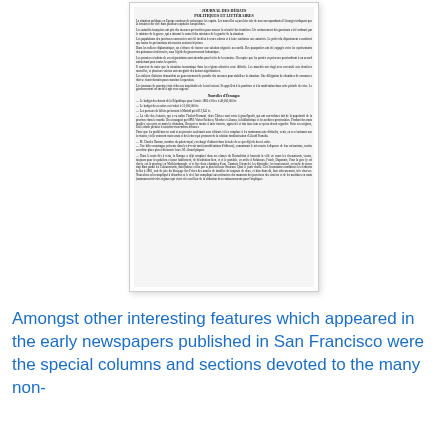[Figure (photo): A scanned column of French-language newspaper text, yellowed and narrow, showing multiple paragraphs with a section header 'Nouvelles d'Etranger' (Foreign News). The text is dense and printed in a small serif typeface typical of 19th century newspapers.]
Amongst other interesting features which appeared in the early newspapers published in San Francisco were the special columns and sections devoted to the many non-